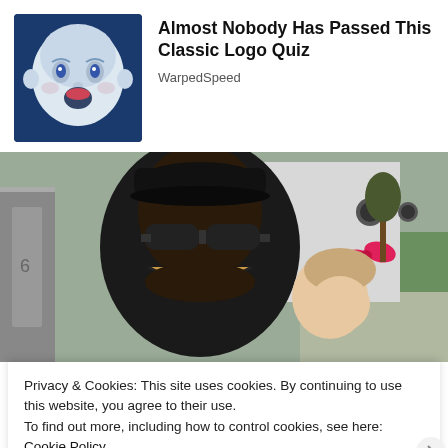[Figure (illustration): Blue square thumbnail showing a vintage baby face illustration (Gerber-style) on a blue background]
Almost Nobody Has Passed This Classic Logo Quiz
WarpedSpeed
[Figure (photo): A man wearing a black cap, black sunglasses, and a black jacket, smiling broadly next to a small child with a pink bow in her hair. Background shows a white vehicle door and outdoor greenery.]
Privacy & Cookies: This site uses cookies. By continuing to use this website, you agree to their use.
To find out more, including how to control cookies, see here: Cookie Policy
Close and accept